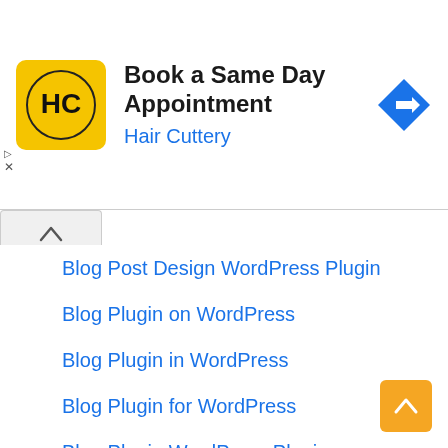[Figure (screenshot): Hair Cuttery advertisement banner with yellow logo, title 'Book a Same Day Appointment', subtitle 'Hair Cuttery', and a blue navigation arrow icon on the right.]
Blog Post Design WordPress Plugin
Blog Plugin on WordPress
Blog Plugin in WordPress
Blog Plugin for WordPress
Blog Plugin WordPress Plugin
Blog Plugin WordPress Categories
Blog Plugin Menu WordPress
Best Free Blog Templates WordPress
Blog Description Plugin WordPress
Blog Curation WordPress Plugin